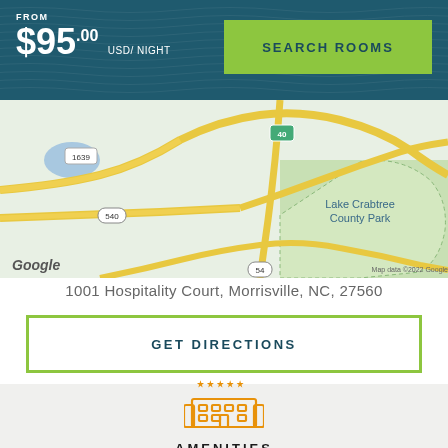FROM $95.00 USD/ NIGHT
SEARCH ROOMS
[Figure (map): Google Maps view showing Lake Crabtree County Park area near Morrisville, NC, with roads 1639, 540, 40, 54 visible]
1001 Hospitality Court, Morrisville, NC, 27560
GET DIRECTIONS
[Figure (illustration): Orange hotel/amenities icon with stars above a building with windows]
AMENITIES